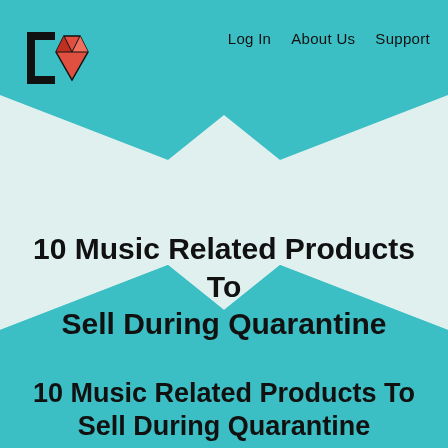[Figure (logo): Square bracket and red diamond gem logo icon]
Log In   About Us   Support
10 Music Related Products To Sell During Quarantine
10 Music Related Products To Sell During Quarantine